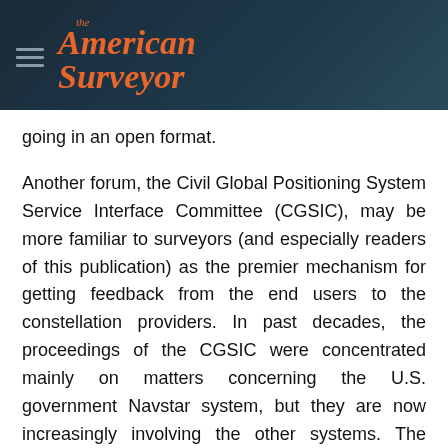The American Surveyor
going in an open format.
Another forum, the Civil Global Positioning System Service Interface Committee (CGSIC), may be more familiar to surveyors (and especially readers of this publication) as the premier mechanism for getting feedback from the end users to the constellation providers. In past decades, the proceedings of the CGSIC were concentrated mainly on matters concerning the U.S. government Navstar system, but they are now increasingly involving the other systems. The CGSIC is an outreach initiative fostered by the U.S. Department of Transportation and the U.S.